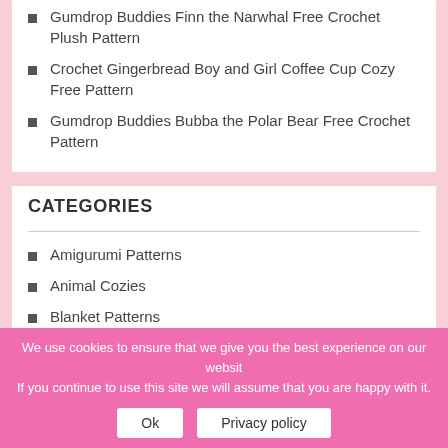Gumdrop Buddies Finn the Narwhal Free Crochet Plush Pattern
Crochet Gingerbread Boy and Girl Coffee Cup Cozy Free Pattern
Gumdrop Buddies Bubba the Polar Bear Free Crochet Pattern
CATEGORIES
Amigurumi Patterns
Animal Cozies
Blanket Patterns
Blog
C2C Graphs
We use cookies to ensure that we give you the best experience on our website. If you continue to use this site we will assume that you are happy with it.